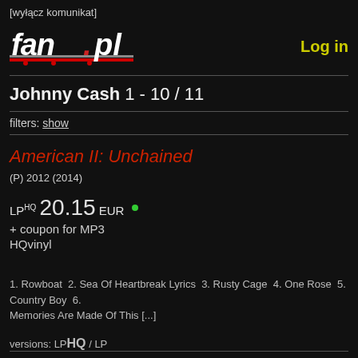[wyłącz komunikat]
[Figure (logo): fan.pl logo in stylized white/red italic text]
Log in
Johnny Cash 1 - 10 / 11
filters: show
American II: Unchained
(P) 2012 (2014)
LPHQ 20.15 EUR • + coupon for MP3 HQvinyl
1. Rowboat  2. Sea Of Heartbreak Lyrics  3. Rusty Cage  4. One Rose  5. Country Boy  6. Memories Are Made Of This [...]
versions: LPHQ / LP